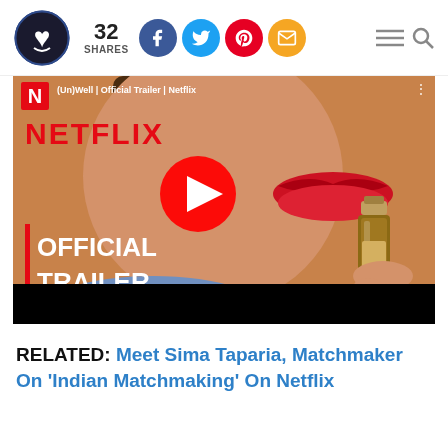32 SHARES — social share bar with Facebook, Twitter, Pinterest, Email buttons and hamburger/search icons
[Figure (screenshot): Netflix Official Trailer thumbnail showing a woman holding an essential oil bottle near her lips with red lipstick. NETFLIX logo in red, OFFICIAL TRAILER text in white overlay, YouTube play button in center.]
RELATED: Meet Sima Taparia, Matchmaker On 'Indian Matchmaking' On Netflix